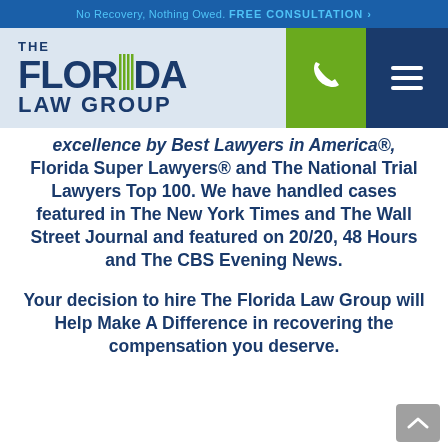No Recovery, Nothing Owed. FREE CONSULTATION >
[Figure (logo): The Florida Law Group logo with phone and menu navigation buttons]
excellence by Best Lawyers in America®, Florida Super Lawyers® and The National Trial Lawyers Top 100. We have handled cases featured in The New York Times and The Wall Street Journal and featured on 20/20, 48 Hours and The CBS Evening News.
Your decision to hire The Florida Law Group will Help Make A Difference in recovering the compensation you deserve.